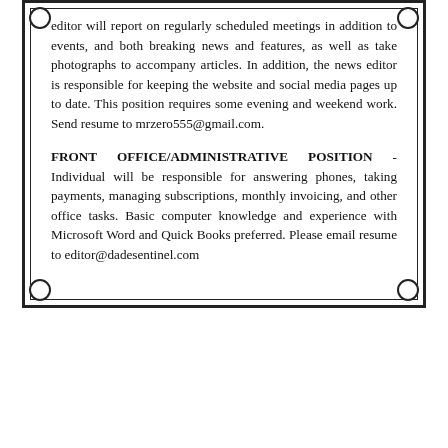editor will report on regularly scheduled meetings in addition to events, and both breaking news and features, as well as take photographs to accompany articles. In addition, the news editor is responsible for keeping the website and social media pages up to date. This position requires some evening and weekend work. Send resume to mrzero555@gmail.com.
FRONT OFFICE/ADMINISTRATIVE POSITION - Individual will be responsible for answering phones, taking payments, managing subscriptions, monthly invoicing, and other office tasks. Basic computer knowledge and experience with Microsoft Word and Quick Books preferred. Please email resume to editor@dadesentinel.com